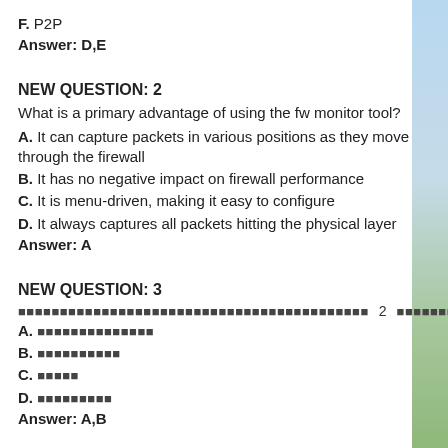F. P2P
Answer: D,E
NEW QUESTION: 2
What is a primary advantage of using the fw monitor tool?
A. It can capture packets in various positions as they move through the firewall
B. It has no negative impact on firewall performance
C. It is menu-driven, making it easy to configure
D. It always captures all packets hitting the physical layer
Answer: A
NEW QUESTION: 3
[non-Latin characters] 2 [non-Latin characters]
A. [non-Latin characters]
B. [non-Latin characters]
C. [non-Latin characters]
D. [non-Latin characters]
Answer: A,B